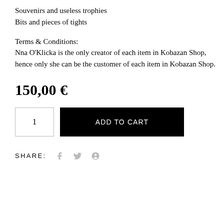Souvenirs and useless trophies
Bits and pieces of tights
Terms & Conditions:
Nna O'Klicka is the only creator of each item in Kobazan Shop,
hence only she can be the customer of each item in Kobazan Shop.
150,00 €
1   ADD TO CART
SHARE: